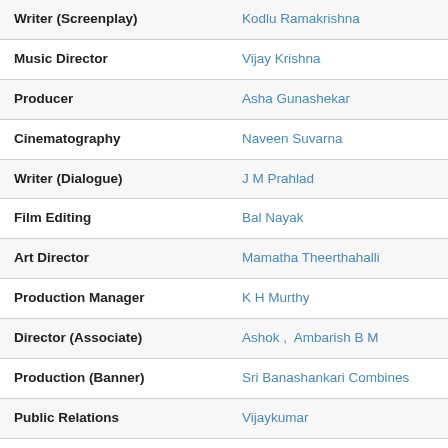| Role | Name |
| --- | --- |
| Writer (Screenplay) | Kodlu Ramakrishna |
| Music Director | Vijay Krishna |
| Producer | Asha Gunashekar |
| Cinematography | Naveen Suvarna |
| Writer (Dialogue) | J M Prahlad |
| Film Editing | Bal Nayak |
| Art Director | Mamatha Theerthahalli |
| Production Manager | K H Murthy |
| Director (Associate) | Ashok ,  Ambarish B M |
| Production (Banner) | Sri Banashankari Combines |
| Public Relations | Vijaykumar |